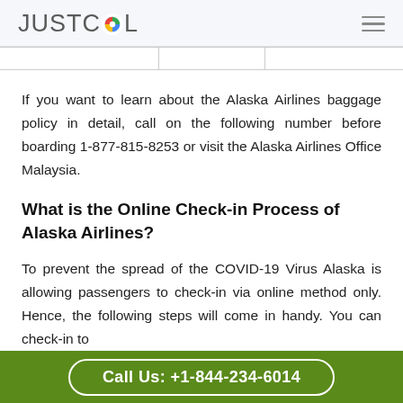JUSTCOL
If you want to learn about the Alaska Airlines baggage policy in detail, call on the following number before boarding 1-877-815-8253 or visit the Alaska Airlines Office Malaysia.
What is the Online Check-in Process of Alaska Airlines?
To prevent the spread of the COVID-19 Virus Alaska is allowing passengers to check-in via online method only. Hence, the following steps will come in handy. You can check-in to
Call Us: +1-844-234-6014